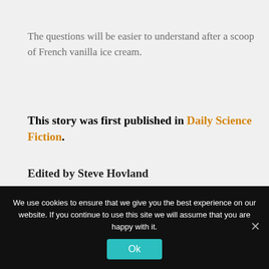The questions will be easier to understand after a scoop of French vanilla ice cream.
This story was first published in Daily Science Fiction.
Edited by Steve Hovland
[Figure (photo): Circular portrait photo of a man wearing glasses, smiling, with a cityscape in the background.]
We use cookies to ensure that we give you the best experience on our website. If you continue to use this site we will assume that you are happy with it.